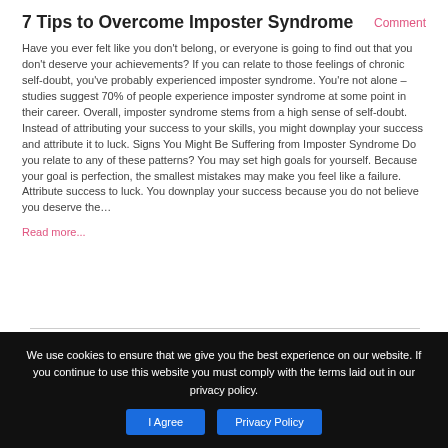7 Tips to Overcome Imposter Syndrome
Comment
Have you ever felt like you don't belong, or everyone is going to find out that you don't deserve your achievements? If you can relate to those feelings of chronic self-doubt, you've probably experienced imposter syndrome. You're not alone – studies suggest 70% of people experience imposter syndrome at some point in their career. Overall, imposter syndrome stems from a high sense of self-doubt. Instead of attributing your success to your skills, you might downplay your success and attribute it to luck. Signs You Might Be Suffering from Imposter Syndrome Do you relate to any of these patterns? You may set high goals for yourself. Because your goal is perfection, the smallest mistakes may make you feel like a failure. Attribute success to luck. You downplay your success because you do not believe you deserve the…
Read more...
We use cookies to ensure that we give you the best experience on our website. If you continue to use this website you must comply with the terms laid out in our privacy policy.
I Agree
Privacy Policy